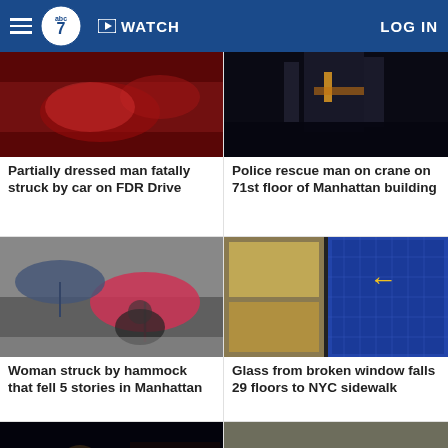WATCH  LOG IN
[Figure (photo): Red-lit scene, partial image of car or emergency lights]
Partially dressed man fatally struck by car on FDR Drive
[Figure (photo): Dark night photo of a building structure/crane]
Police rescue man on crane on 71st floor of Manhattan building
[Figure (photo): People with umbrellas crouching on a sidewalk in rain]
Woman struck by hammock that fell 5 stories in Manhattan
[Figure (photo): Blue glass skyscraper with yellow arrow pointing to a broken window]
Glass from broken window falls 29 floors to NYC sidewalk
[Figure (photo): Performer singing into microphone at concert, Bobby Shmurda sign in background]
[Figure (photo): 9/11 memorial with names engraved in stone and pink carnations placed on it]